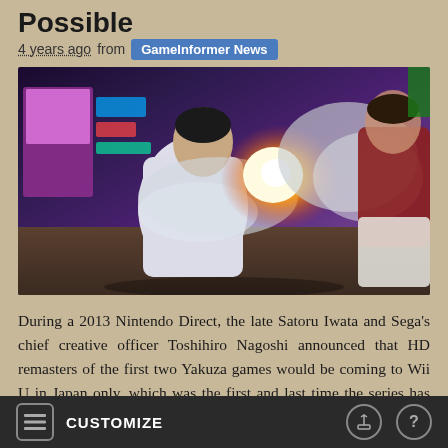Possible
4 years ago from GameInformer News
[Figure (photo): Screenshot from a Yakuza video game showing a character in a white outfit performing a fighting move with a bright energy explosion effect, set in a colorful Japanese arcade/city environment at night.]
During a 2013 Nintendo Direct, the late Satoru Iwata and Sega's chief creative officer Toshihiro Nagoshi announced that HD remasters of the first two Yakuza games would be coming to Wii U in Japan only, which was the first and last time the series has ever released on a Nintendo console. Like most third party Wii U games, the HD update
CUSTOMIZE